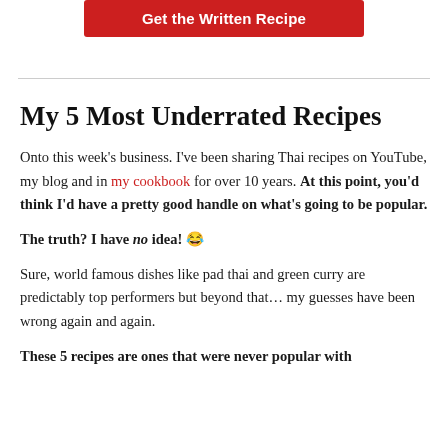[Figure (other): Red button with white text 'Get the Written Recipe']
My 5 Most Underrated Recipes
Onto this week's business. I've been sharing Thai recipes on YouTube, my blog and in my cookbook for over 10 years. At this point, you'd think I'd have a pretty good handle on what's going to be popular.
The truth? I have no idea! 😂
Sure, world famous dishes like pad thai and green curry are predictably top performers but beyond that… my guesses have been wrong again and again.
These 5 recipes are ones that were never popular with